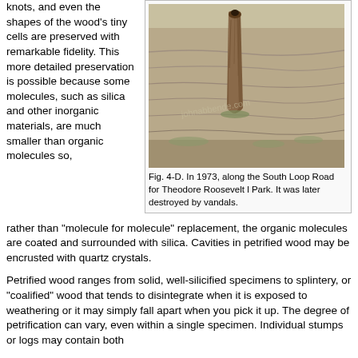knots, and even the shapes of the wood's tiny cells are preserved with remarkable fidelity. This more detailed preservation is possible because some molecules, such as silica and other inorganic materials, are much smaller than organic molecules so, rather than "molecule for molecule" replacement, the organic molecules are coated and surrounded with silica. Cavities in petrified wood may be encrusted with quartz crystals.
[Figure (photo): A petrified wood stump or log standing upright in badlands terrain with layered sedimentary rock formations in the background. Photograph taken in 1973 along the South Loop Road for Theodore Roosevelt National Park.]
Fig. 4-D. In 1973, along the South Loop Road for Theodore Roosevelt l Park. It was later destroyed by vandals.
Petrified wood ranges from solid, well-silicified specimens to splintery, or "coalified" wood that tends to disintegrate when it is exposed to weathering or it may simply fall apart when you pick it up. The degree of petrification can vary, even within a single specimen. Individual stumps or logs may contain both well-silicified parts and others that are still wood. Most of